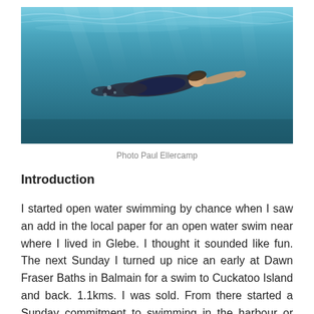[Figure (photo): Underwater photograph of a swimmer in a dark swimsuit gliding through blue water, viewed from the side, with light rays filtering from above.]
Photo Paul Ellercamp
Introduction
I started open water swimming by chance when I saw an add in the local paper for an open water swim near where I lived in Glebe. I thought it sounded like fun. The next Sunday I turned up nice an early at Dawn Fraser Baths in Balmain for a swim to Cuckatoo Island and back. 1.1kms. I was sold. From there started a Sunday commitment to swimming in the harbour or ocean